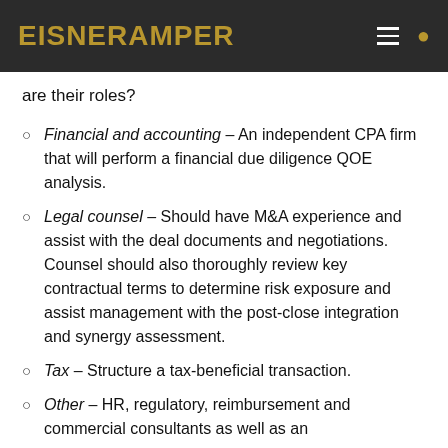EisnerAmper
are their roles?
Financial and accounting – An independent CPA firm that will perform a financial due diligence QOE analysis.
Legal counsel – Should have M&A experience and assist with the deal documents and negotiations. Counsel should also thoroughly review key contractual terms to determine risk exposure and assist management with the post-close integration and synergy assessment.
Tax – Structure a tax-beneficial transaction.
Other – HR, regulatory, reimbursement and commercial consultants as well as an